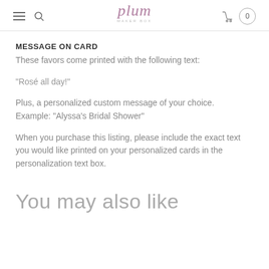plum — navigation header with hamburger menu, search, logo, cart
MESSAGE ON CARD
These favors come printed with the following text:
"Rosé all day!"
Plus, a personalized custom message of your choice. Example: "Alyssa's Bridal Shower"
When you purchase this listing, please include the exact text you would like printed on your personalized cards in the personalization text box.
You may also like